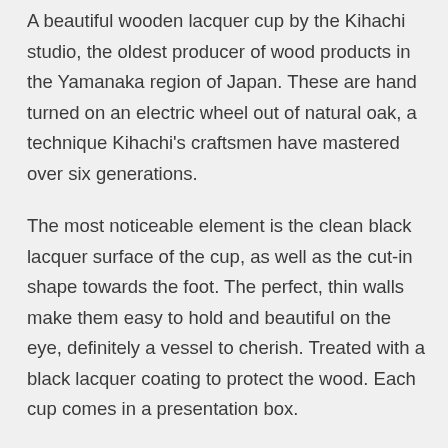A beautiful wooden lacquer cup by the Kihachi studio, the oldest producer of wood products in the Yamanaka region of Japan. These are hand turned on an electric wheel out of natural oak, a technique Kihachi's craftsmen have mastered over six generations.
The most noticeable element is the clean black lacquer surface of the cup, as well as the cut-in shape towards the foot. The perfect, thin walls make them easy to hold and beautiful on the eye, definitely a vessel to cherish. Treated with a black lacquer coating to protect the wood. Each cup comes in a presentation box.
Approx Dimensions: 8cm Diameter x 7cm Height